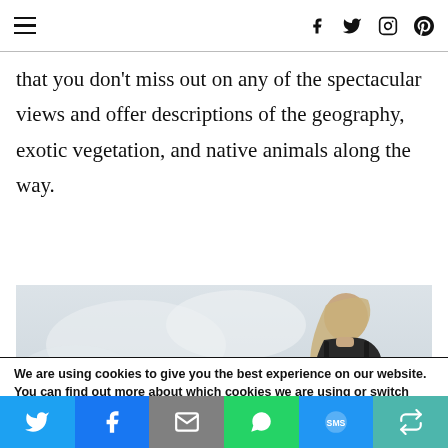Navigation bar with hamburger menu and social icons (f, twitter, instagram, pinterest)
that you don't miss out on any of the spectacular views and offer descriptions of the geography, exotic vegetation, and native animals along the way.
[Figure (photo): A woman with long blonde hair wearing a black top, photographed against a light grey/cloudy sky background, positioned to the right side of the image.]
We are using cookies to give you the best experience on our website.
You can find out more about which cookies we are using or switch them off in settings.
[Figure (infographic): Social share bar with six buttons: Twitter (blue), Facebook (blue), Email (grey), WhatsApp (green), SMS (blue), More/Other (teal).]